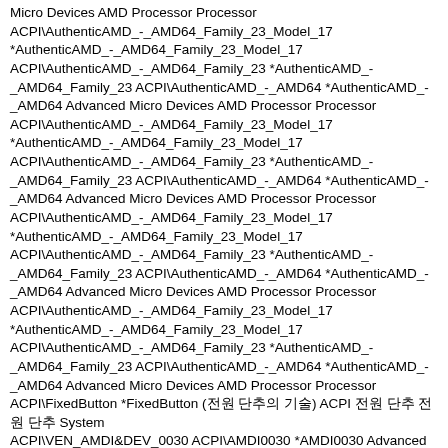Micro Devices AMD Processor Processor
ACPI\AuthenticAMD_-_AMD64_Family_23_Model_17 *AuthenticAMD_-_AMD64_Family_23_Model_17 ACPI\AuthenticAMD_-_AMD64_Family_23 *AuthenticAMD_-_AMD64_Family_23 ACPI\AuthenticAMD_-_AMD64 *AuthenticAMD_-_AMD64 Advanced Micro Devices AMD Processor Processor
ACPI\AuthenticAMD_-_AMD64_Family_23_Model_17 *AuthenticAMD_-_AMD64_Family_23_Model_17 ACPI\AuthenticAMD_-_AMD64_Family_23 *AuthenticAMD_-_AMD64_Family_23 ACPI\AuthenticAMD_-_AMD64 *AuthenticAMD_-_AMD64 Advanced Micro Devices AMD Processor Processor
ACPI\AuthenticAMD_-_AMD64_Family_23_Model_17 *AuthenticAMD_-_AMD64_Family_23_Model_17 ACPI\AuthenticAMD_-_AMD64_Family_23 *AuthenticAMD_-_AMD64_Family_23 ACPI\AuthenticAMD_-_AMD64 *AuthenticAMD_-_AMD64 Advanced Micro Devices AMD Processor Processor
ACPI\AuthenticAMD_-_AMD64_Family_23_Model_17 *AuthenticAMD_-_AMD64_Family_23_Model_17 ACPI\AuthenticAMD_-_AMD64_Family_23 *AuthenticAMD_-_AMD64_Family_23 ACPI\AuthenticAMD_-_AMD64 *AuthenticAMD_-_AMD64 Advanced Micro Devices AMD Processor Processor
ACPI\FixedButton *FixedButton  (전원 단추의 기술) ACPI 전원 단추 전원 단추 System
ACPI\VEN_AMDI&DEV_0030 ACPI\AMDI0030 *AMDI0030  Advanced Micro Devices, Inc AMD GPIO Controller System